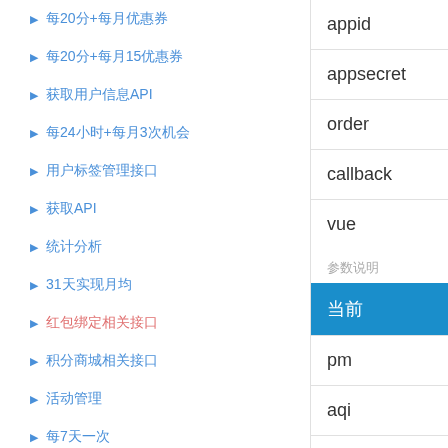▶ 每20分+每月优惠券
▶ 每20分+每月15优惠券
▶ 获取用户信息API
▶ 每24小时+每月3次机会
▶ 用户标签管理接口
▶ 获取API
▶ 统计分析
▶ 31天实现月均
▶ 红包绑定相关接口
▶ 积分商城相关接口
▶ 活动管理
▶ 每7天一次
appid
appsecret
order
callback
vue
参数说明
当前
pm
aqi